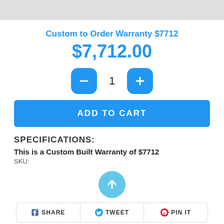[Figure (screenshot): Gray top bar / image placeholder at top of page]
Custom to Order Warranty $7712
$7,712.00
[Figure (other): Quantity selector with minus button, quantity 1, plus button]
ADD TO CART
SPECIFICATIONS:
This is a Custom Built Warranty of $7712
SKU:
[Figure (other): Scroll-to-top circular button with upward arrow]
SHARE   TWEET   PIN IT